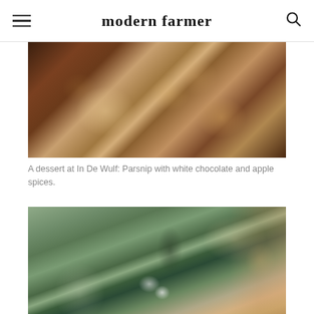modern farmer
[Figure (photo): Close-up of a bowl containing parsnips with white chocolate and apple spices, rustic brown tones.]
A dessert at In De Wulf: Parsnip with white chocolate and apple spices.
[Figure (photo): Two white doves perched on a green wooden birdhouse structure, with bare winter trees in the background and autumn leaves to the right.]